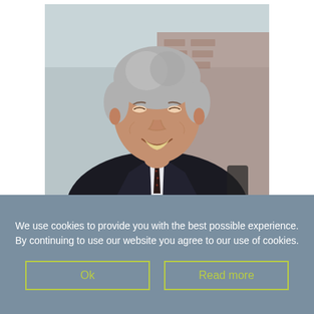[Figure (photo): Photograph of an older man with silver-grey hair, smiling/laughing, wearing a dark suit and dark patterned tie with white shirt, photographed against a blurred brick wall background.]
We use cookies to provide you with the best possible experience. By continuing to use our website you agree to our use of cookies.
Ok
Read more